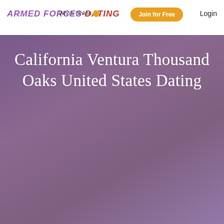ARMED FORCES DATING | Who's Online | Join for Free | Login
California Ventura Thousand Oaks United States Dating